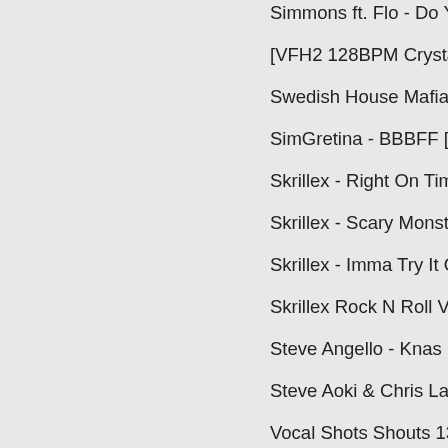Simmons ft. Flo - Do You W...
[VFH2 128BPM Crystalline M...
Swedish House Mafia - One...
SimGretina - BBBFF [VEC1...
Skrillex - Right On Time [VVI...
Skrillex - Scary Monsters An...
Skrillex - Imma Try It Out [VE...
Skrillex Rock N Roll VIP [VD...
Steve Angello - Knas [VFH2...
Steve Aoki & Chris Lake & T...
Vocal Shots Shouts 13]
T
Talla 2XLC vs Paul Miller - E... and Whistle]
Teddyloid - Fly Away [VEH3...
Tristam - I Remember [VFX2...
V
Vinyl Scratch - Epic Rave an...
X